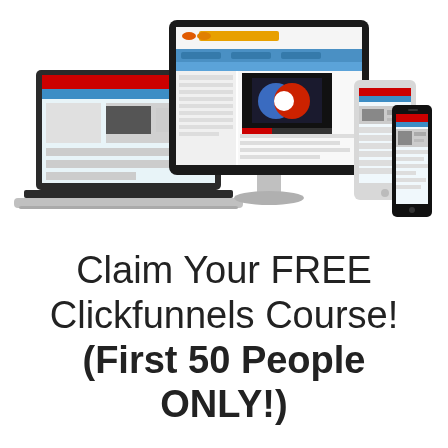[Figure (illustration): Multiple devices (desktop monitor, laptop, tablet, smartphone) all displaying the Wealth Rockstar website/course interface, shown as a responsive design mockup.]
Claim Your FREE Clickfunnels Course! (First 50 People ONLY!)